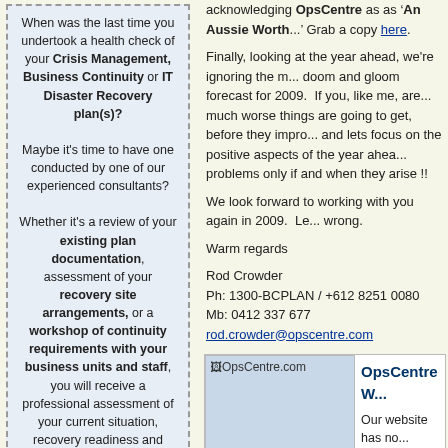When was the last time you undertook a health check of your Crisis Management, Business Continuity or IT Disaster Recovery plan(s)?

Maybe it's time to have one conducted by one of our experienced consultants?

Whether it's a review of your existing plan documentation, assessment of your recovery site arrangements, or a workshop of continuity requirements with your business units and staff, you will receive a professional assessment of your current situation, recovery readiness and remediation plan.

Contact us on 1300-BCPLAN or by email to info@opscentre.com for more details on this offer.
Industry Links
The Business Continuity Institute
Risk Management Institute Australia
acknowledging OpsCentre as as 'An Aussie Worth...'
Grab a copy here.
Finally, looking at the year ahead, we're ignoring the m... doom and gloom forecast for 2009. If you, like me, are... much worse things are going to get, before they impro... and lets focus on the positive aspects of the year ahea... problems only if and when they arise !!
We look forward to working with you again in 2009. Le... wrong.
Warm regards
Rod Crowder
Ph: 1300-BCPLAN / +612 8251 0080
Mb: 0412 337 677
rod.crowder@opscentre.com
[Figure (screenshot): OpsCentre.com website screenshot showing logo and site image]
OpsCentre W...

Our website has no... makeover.

As well as a new lo... incorporated more o... our services and a l... that we will be conti...
coming months.
Click here to visit our new site.
Enterprise Risk-based Busin...